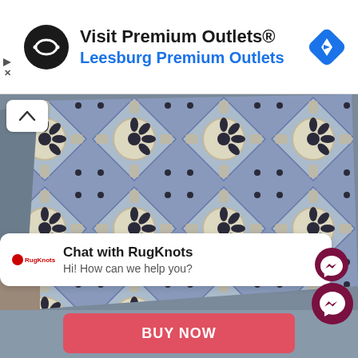[Figure (infographic): Advertisement banner for Visit Premium Outlets / Leesburg Premium Outlets with black circular logo, navigation diamond icon]
[Figure (photo): Overhead photo of a decorative patterned area rug with geometric and floral motifs in grey, blue, beige, and cream tones]
Chat with RugKnots
Hi! How can we help you?
BUY NOW